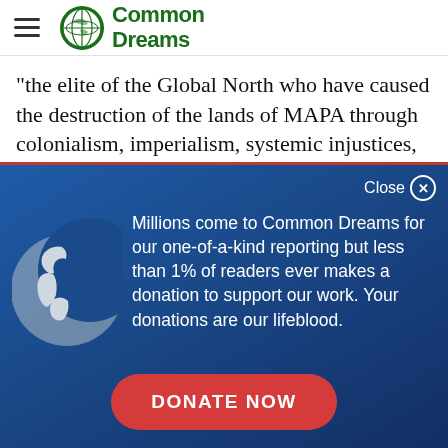Common Dreams
"the elite of the Global North who have caused the destruction of the lands of MAPA through colonialism, imperialism, systemic injustices, and their wanton greed,
[Figure (screenshot): Common Dreams donation modal overlay with globe icon, text about readership and donations, and a red DONATE NOW button on a dark blue gradient background. Includes a Close button with X icon at top right.]
Millions come to Common Dreams for our one-of-a-kind reporting but less than 1% of readers ever makes a donation to support our work. Your donations are our lifeblood.
DONATE NOW